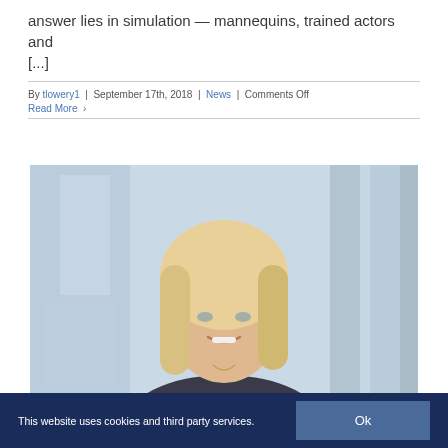answer lies in simulation — mannequins, trained actors and [...]
By tlowery1 | September 17th, 2018 | News | Comments Off
Read More >
[Figure (photo): Professional headshot of a blonde woman smiling, with a modern glass building in the background]
This website uses cookies and third party services. Ok